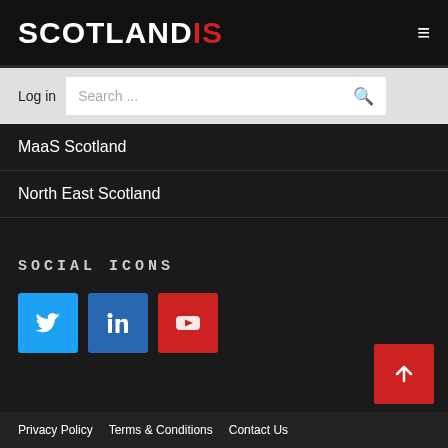SCOTLANDIS
Log in  Search...
MaaS Scotland
North East Scotland
SOCIAL ICONS
[Figure (infographic): Three social media icons: Twitter (blue), LinkedIn (blue), YouTube (red)]
Privacy Policy   Terms & Conditions   Contact Us